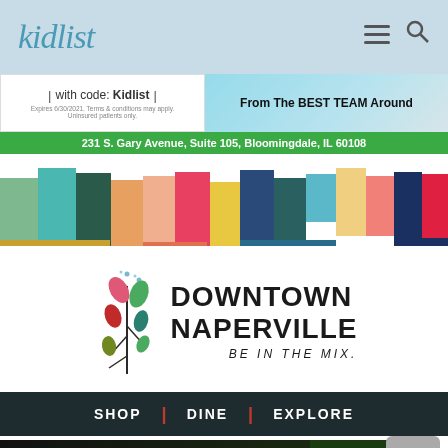kidlist
[Figure (screenshot): Advertisement banner with 'with code: Kidlist', 'From The BEST TEAM Around' and address 231 S. Gary Avenue, Suite 105, Bloomingdale, IL 60108]
[Figure (illustration): Colorful vertical stripes banner in teal, dark green, orange, salmon, red, navy, dark teal, gold, light blue, pink, crimson colors]
[Figure (logo): Downtown Naperville logo with flower/leaf icon and text DOWNTOWN NAPERVILLE BE IN THE MIX.]
[Figure (infographic): Dark banner with text SHOP | DINE | EXPLORE]
[Figure (screenshot): BUY ONE banner with Kane County Cougars mascot logo partially visible]